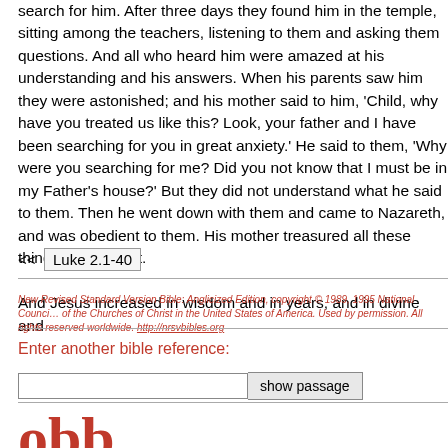search for him. After three days they found him in the temple, sitting among the teachers, listening to them and asking them questions. And all who heard him were amazed at his understanding and his answers. When his parents saw him they were astonished; and his mother said to him, 'Child, why have you treated us like this? Look, your father and I have been searching for you in great anxiety.' He said to them, 'Why were you searching for me? Did you not know that I must be in my Father's house?' But they did not understand what he said to them. Then he went down with them and came to Nazareth, and was obedient to them. His mother treasured all these things in her heart.

And Jesus increased in wisdom and in years, and in divine and
<< Luke 2.1-40
New Revised Standard Version Bible: Anglicized Edition, copyright © 1989, 1995 National Council of the Churches of Christ in the United States of America. Used by permission. All rights reserved worldwide. http://nrsvbibles.org
Enter another bible reference:
show passage
[Figure (logo): Red letters 'obb' partial logo text]